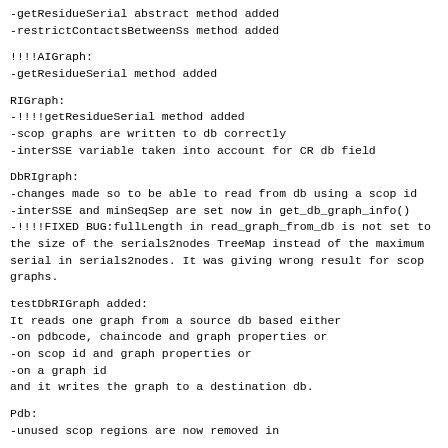-getResidueSerial abstract method added
-restrictContactsBetweenSs method added
!!!!AIGraph:
-getResidueSerial method added
RIGraph:
-!!!!getResidueSerial method added
-scop graphs are written to db correctly
-interSSE variable taken into account for CR db field
DbRIgraph:
-changes made so to be able to read from db using a scop id
-interSSE and minSeqSep are set now in get_db_graph_info()
-!!!!FIXED BUG:fullLength in read_graph_from_db is not set to the size of the serials2nodes TreeMap instead of the maximum serial in serials2nodes. It was giving wrong result for scop graphs.
testDbRIGraph added:
It reads one graph from a source db based either
-on pdbcode, chaincode and graph properties or
-on scop id and graph properties or
-on a graph id
and it writes the graph to a destination db.
Pdb:
-unused scop regions are now removed in